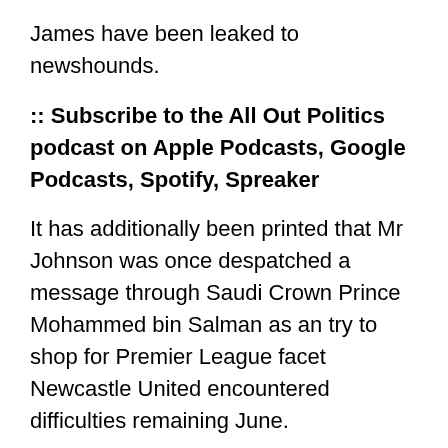James have been leaked to newshounds.
:: Subscribe to the All Out Politics podcast on Apple Podcasts, Google Podcasts, Spotify, Spreaker
It has additionally been printed that Mr Johnson was once despatched a message through Saudi Crown Prince Mohammed bin Salman as an try to shop for Premier League facet Newcastle United encountered difficulties remaining June.
The Solar quoted a supply in Quantity 10 as announcing that the PM “fears Dom was once liable for the textual content message leaks about James Dyson and Mohammed bin Salman”.